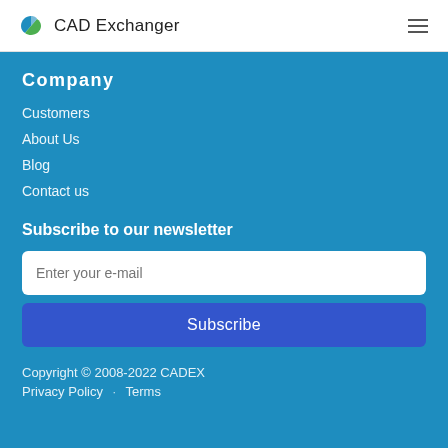CAD Exchanger
Company
Customers
About Us
Blog
Contact us
Subscribe to our newsletter
Enter your e-mail
Subscribe
Copyright © 2008-2022 CADEX
Privacy Policy · Terms